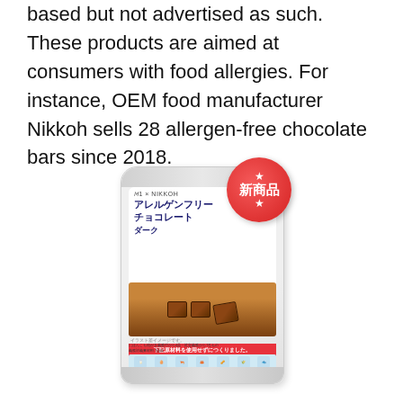based but not advertised as such. These products are aimed at consumers with food allergies. For instance, OEM food manufacturer Nikkoh sells 28 allergen-free chocolate bars since 2018.
[Figure (photo): Product photo of Nikkoh allergen-free dark chocolate bar package. The package is white/silver with Japanese text reading アレルゲンフリーチョコレートダーク (Allergen-Free Chocolate Dark), branded with M1 x NIKKOH. A red circular stamp reads 新商品 (New Product) with stars. The bottom of the package shows allergen-free icons with 不使用 (Not Used) text and a red X cross.]